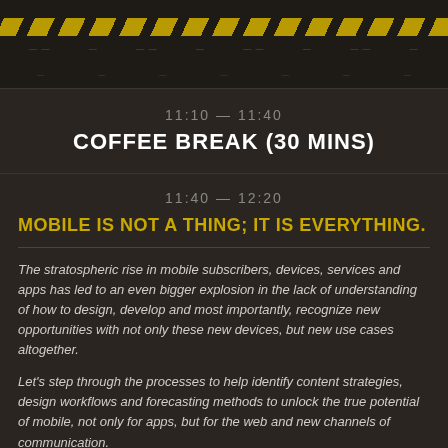[Figure (infographic): Dark banner with diagonal yellow/black hazard stripes and small decorative dots/text elements]
11:10 — 11:40
COFFEE BREAK (30 MINS)
11:40 — 12:20
MOBILE IS NOT A THING; IT IS EVERYTHING.
The stratospheric rise in mobile subscribers, devices, services and apps has led to an even bigger explosion in the lack of understanding of how to design, develop and most importantly, recognize new opportunities with not only these new devices, but new use cases altogether.
Let's step through the processes to help identify content strategies, design workflows and forecasting methods to unlock the true potential of mobile, not only for apps, but for the web and new channels of communication.